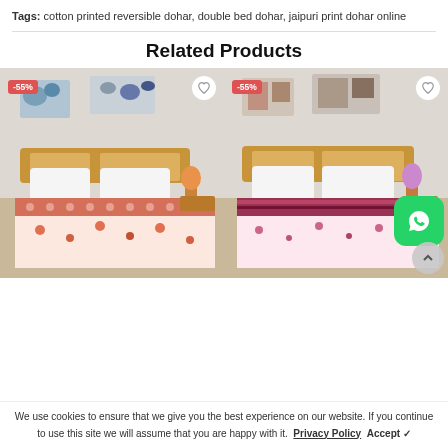Tags: cotton printed reversible dohar, double bed dohar, jaipuri print dohar online
Related Products
[Figure (photo): Product card showing a floral cotton printed reversible dohar on a double bed, with -55% badge and heart icon]
[Figure (photo): Product card showing a pink and maroon printed reversible dohar on a double bed, with -55% badge, heart icon, WhatsApp icon, and scroll-to-top button]
We use cookies to ensure that we give you the best experience on our website. If you continue to use this site we will assume that you are happy with it. Privacy Policy Accept ✓